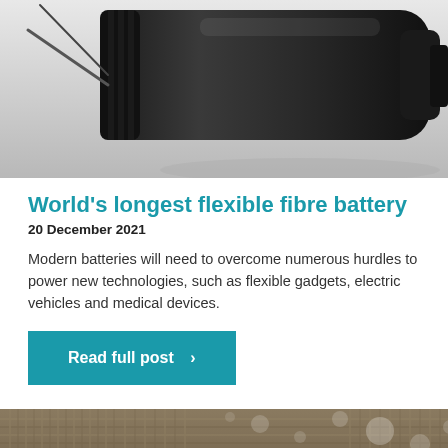[Figure (photo): Close-up photo of a dark cylindrical battery or electrical component on a light grey surface]
World's longest flexible fibre battery
20 December 2021
Modern batteries will need to overcome numerous hurdles to power new technologies, such as flexible gadgets, electric vehicles and medical devices.
Read full post  >
[Figure (photo): Close-up macro photo of water droplets on a textured woven fabric surface]